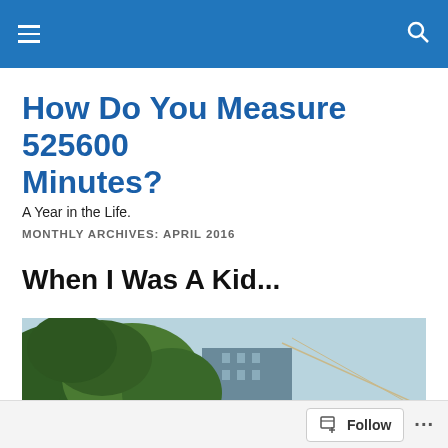How Do You Measure 525600 Minutes?
A Year in the Life.
MONTHLY ARCHIVES: APRIL 2016
When I Was A Kid...
[Figure (photo): Outdoor photo showing dense green trees/bushes in the foreground and a building and bridge structure in the background against a light blue sky.]
Follow